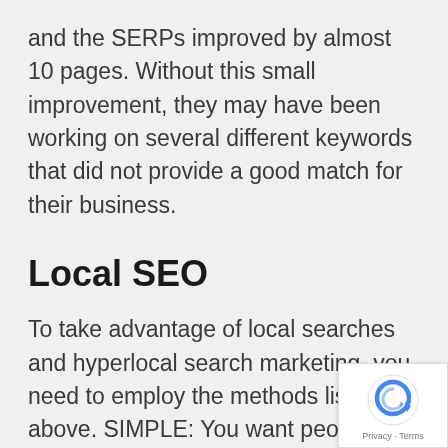and the SERPs improved by almost 10 pages. Without this small improvement, they may have been working on several different keywords that did not provide a good match for their business.
Local SEO
To take advantage of local searches and hyperlocal search marketing, you need to employ the methods listed above. SIMPLE: You want people in Austin, Texas to find your website for relationship dating. Your search engine optimizatio
[Figure (other): reCAPTCHA badge with circular arrow logo and 'Privacy - Terms' text]